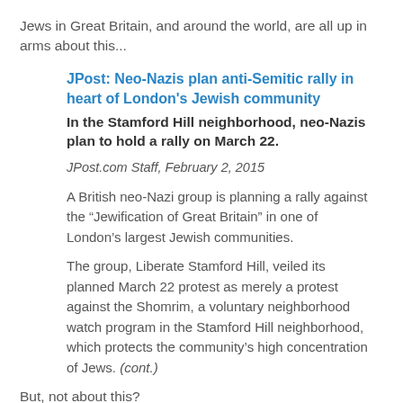Jews in Great Britain, and around the world, are all up in arms about this...
JPost: Neo-Nazis plan anti-Semitic rally in heart of London's Jewish community
In the Stamford Hill neighborhood, neo-Nazis plan to hold a rally on March 22.
JPost.com Staff, February 2, 2015
A British neo-Nazi group is planning a rally against the “Jewification of Great Britain” in one of London’s largest Jewish communities.
The group, Liberate Stamford Hill, veiled its planned March 22 protest as merely a protest against the Shomrim, a voluntary neighborhood watch program in the Stamford Hill neighborhood, which protects the community’s high concentration of Jews. (cont.)
But, not about this?